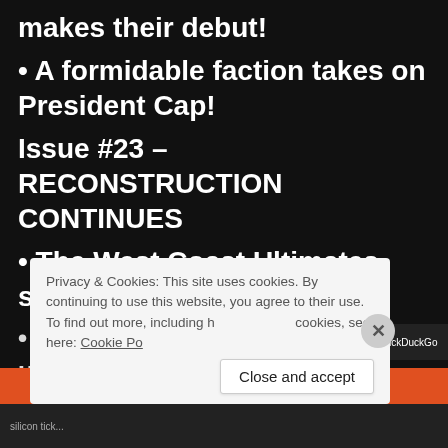makes their debut!
• A formidable faction takes on President Cap!
Issue #23 – RECONSTRUCTION CONTINUES
• The West Coast Ultimates strike the United States!
• The titanic new team shakes up…
Privacy & Cookies: This site uses cookies. By continuing to use this website, you agree to their use. To find out more, including how to control cookies, see here: Cookie Po…
Close and accept